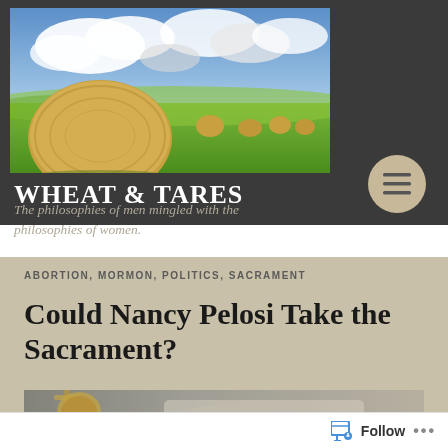[Figure (photo): Landscape photo of hay bales on a green field with dramatic cloudy sky]
WHEAT & TARES
The philosophies of men mingled with the philosophies of women.
ABORTION, MORMON, POLITICS, SACRAMENT
Could Nancy Pelosi Take the Sacrament?
[Figure (photo): Close-up photo of a golden chalice and hands holding communion bread/wafer]
Follow ...